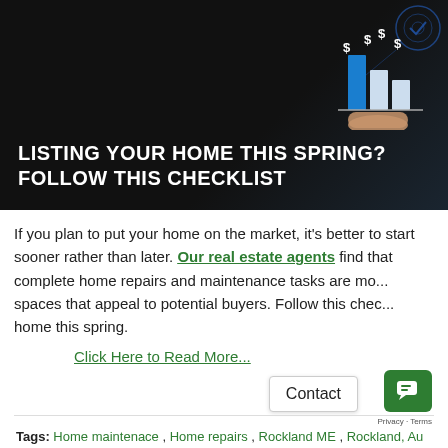[Figure (illustration): Dark background banner image showing a hand pointing at bar charts with dollar signs, used as a blog header image for a real estate article about listing your home in spring.]
LISTING YOUR HOME THIS SPRING? FOLLOW THIS CHECKLIST
If you plan to put your home on the market, it's better to start sooner rather than later. Our real estate agents find that complete home repairs and maintenance tasks are more spaces that appeal to potential buyers. Follow this checklist home this spring.
Click Here to Read More...
Tags: Home maintenace , Home repairs , Rockland ME , Rockland, Au...